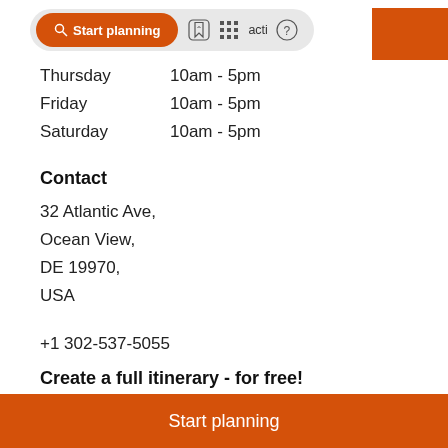Start planning | activities
Thursday   10am - 5pm
Friday   10am - 5pm
Saturday   10am - 5pm
Contact
32 Atlantic Ave,
Ocean View,
DE 19970,
USA
+1 302-537-5055
Create a full itinerary - for free!
Start planning
Start planning